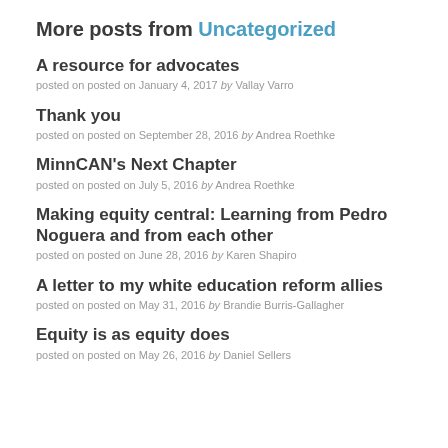More posts from Uncategorized
A resource for advocates
posted on posted on January 4, 2017 by Vallay Varro
Thank you
posted on posted on September 28, 2016 by Andrea Roethke
MinnCAN's Next Chapter
posted on posted on July 5, 2016 by Andrea Roethke
Making equity central: Learning from Pedro Noguera and from each other
posted on posted on June 28, 2016 by Karen Shapiro
A letter to my white education reform allies
posted on posted on May 31, 2016 by Brandie Burris-Gallagher
Equity is as equity does
posted on posted on May 26, 2016 by Daniel Sellers